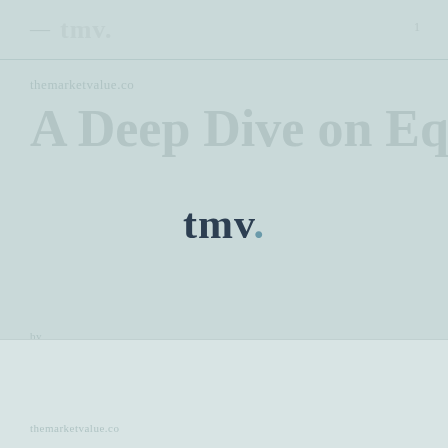tmv.
A Deep Dive on Equity
[Figure (logo): tmv. logo centered on page, dark navy serif text with teal dot]
tmv.